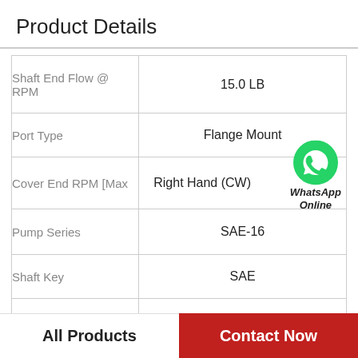Product Details
|  |  |
| --- | --- |
| Shaft End Flow @ RPM | 15.0 LB |
| Port Type | Flange Mount |
| Cover End RPM [Max | Right Hand (CW) |
| Pump Series | SAE-16 |
| Shaft Key | SAE |
| GPM @ 1,800 rpm, Shaft End | 3/16 in |
|  |  |
[Figure (logo): WhatsApp green phone icon with 'WhatsApp Online' text label]
All Products
Contact Now